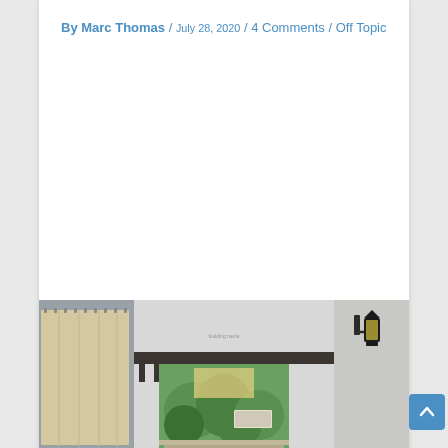By Marc Thomas / July 28, 2020 / 4 Comments / Off Topic
[Figure (photo): Exterior photo of a building entrance with a covered walkway/overhang, white stucco walls, a wall-mounted lantern light fixture, and greenery visible through the gate opening. Construction tarps are visible on the left side.]